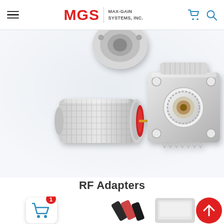MGS MAX-GAIN SYSTEMS, INC.
[Figure (photo): RF connector adapters: N-type male plug connector with knurled body and red dielectric, and UHF female SO-239 panel-mount connector with flange, silver/white finish. Additional connectors partially visible at top of frame.]
RF Adapters
[Figure (photo): Partial view of RF adapter products at bottom of page, including dark coaxial cable adapters on left and silver metal adapters on right. Shopping cart icon with red badge showing '1' at bottom left, and red scroll-to-top button at bottom right.]